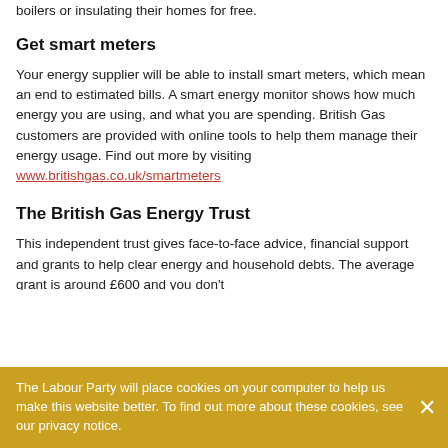boilers or insulating their homes for free.
Get smart meters
Your energy supplier will be able to install smart meters, which mean an end to estimated bills. A smart energy monitor shows how much energy you are using, and what you are spending. British Gas customers are provided with online tools to help them manage their energy usage. Find out more by visiting www.britishgas.co.uk/smartmeters
The British Gas Energy Trust
This independent trust gives face-to-face advice, financial support and grants to help clear energy and household debts. The average grant is around £600 and you don't
The Labour Party will place cookies on your computer to help us make this website better. To find out more about these cookies, see our privacy notice.